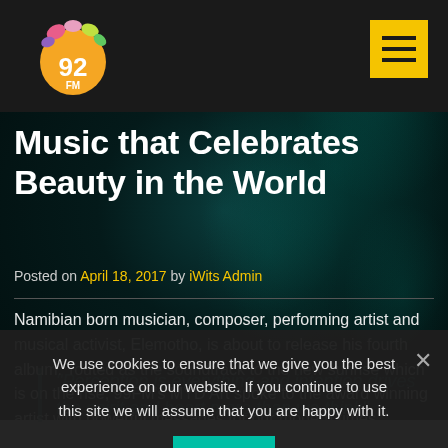99FM logo and navigation header
Music that Celebrates Beauty in the World
Posted on April 18, 2017 by iWits Admin
Namibian born musician, composer, performing artist and musical activist, Elemotho, is about to release his fourth album. Touted as the soundtrack to the new sunrise which is on the rise, 99FM's MYD Art spoke to the award winning artist with powerful messages for our modern times.
"Perception is everything and intention drives the spirit and heart more than we think"
We use cookies to ensure that we give you the best experience on our website. If you continue to use this site we will assume that you are happy with it.